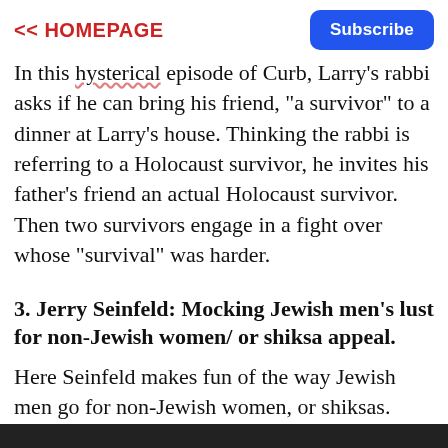<< HOMEPAGE  Subscribe
In this hysterical episode of Curb, Larry's rabbi asks if he can bring his friend, "a survivor" to a dinner at Larry's house. Thinking the rabbi is referring to a Holocaust survivor, he invites his father's friend an actual Holocaust survivor. Then two survivors engage in a fight over whose "survival" was harder.
3. Jerry Seinfeld: Mocking Jewish men's lust for non-Jewish women/ or shiksa appeal.
Here Seinfeld makes fun of the way Jewish men go for non-Jewish women, or shiksas.